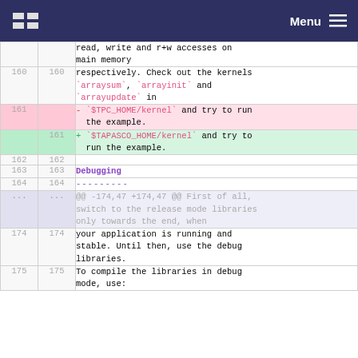ESA Menu
| old | new | code |
| --- | --- | --- |
|  |  | read, write and r+w accesses on main memory |
| 160 | 160 | respectively. Check out the kernels `arraysum`, `arrayinit` and `arrayupdate` in |
| 161 |  | - `$TPC_HOME/kernel` and try to run the example. |
|  | 161 | + `$TAPASCO_HOME/kernel` and try to run the example. |
| 162 | 162 |  |
| 163 | 163 | Debugging |
| 164 | 164 | --------- |
| ... | ... | @@ -174,47 +174,47 @@ First of all, switch to the release mode libraries only towards the end, when |
| 174 | 174 | your application is running and stable. Until then, use the debug libraries. |
| 175 | 175 | To compile the libraries in debug mode, use: |